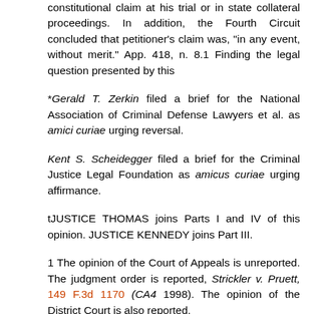constitutional claim at his trial or in state collateral proceedings. In addition, the Fourth Circuit concluded that petitioner's claim was, "in any event, without merit." App. 418, n. 8.1 Finding the legal question presented by this
*Gerald T. Zerkin filed a brief for the National Association of Criminal Defense Lawyers et al. as amici curiae urging reversal.
Kent S. Scheidegger filed a brief for the Criminal Justice Legal Foundation as amicus curiae urging affirmance.
tJUSTICE THOMAS joins Parts I and IV of this opinion. JUSTICE KENNEDY joins Part III.
1 The opinion of the Court of Appeals is unreported. The judgment order is reported, Strickler v. Pruett, 149 F.3d 1170 (CA4 1998). The opinion of the District Court is also reported.